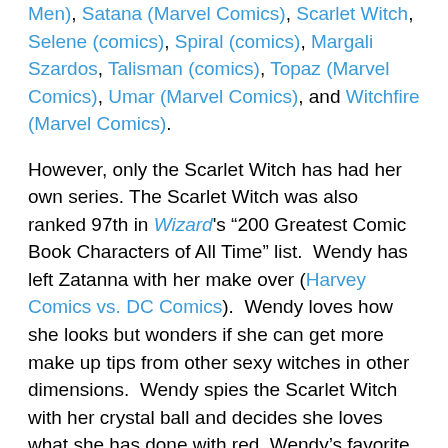Men), Satana (Marvel Comics), Scarlet Witch, Selene (comics), Spiral (comics), Margali Szardos, Talisman (comics), Topaz (Marvel Comics), Umar (Marvel Comics), and Witchfire (Marvel Comics).
However, only the Scarlet Witch has had her own series. The Scarlet Witch was also ranked 97th in Wizard's "200 Greatest Comic Book Characters of All Time" list. Wendy has left Zatanna with her make over (Harvey Comics vs. DC Comics). Wendy loves how she looks but wonders if she can get more make up tips from other sexy witches in other dimensions. Wendy spies the Scarlet Witch with her crystal ball and decides she loves what she has done with red, Wendy's favorite color. Wendy arrives in front of the Scarlett Witch. The Scarlet Witch begins combing Wendy's hair. Wendy doesn't mind having her hair combed and has Casper do that all the time well until